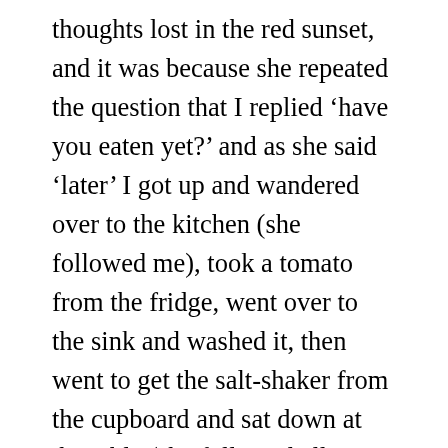thoughts lost in the red sunset, and it was because she repeated the question that I replied ‘have you eaten yet?’ and as she said ‘later’ I got up and wandered over to the kitchen (she followed me), took a tomato from the fridge, went over to the sink and washed it, then went to get the salt-shaker from the cupboard and sat down at the table (she followed all my movements from across the room, while I, to annoy her, pretended not to notice), and it was under her constant gaze that I began to eat the tomato, sprinkling more salt on what remained in my hand, making a show of biting into it with relish in order to reveal my teeth, strong as a horse’s, knowing that she couldn’t tear her eyes off my mouth,